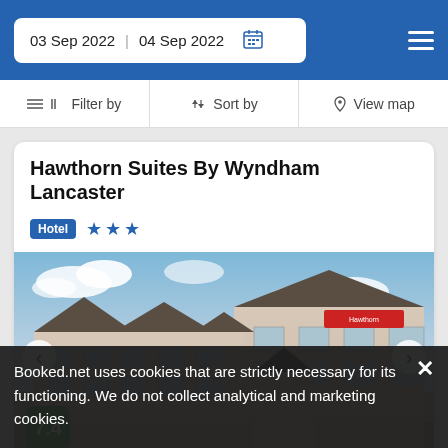03 Sep 2022  04 Sep 2022
Filter by  Sort by  View map
Hawthorn Suites By Wyndham Lancaster
Hotel ★★★
[Figure (photo): Exterior photo of Hawthorn Suites By Wyndham Lancaster hotel building with multiple peaked gables, beige facade, and cloudy blue sky]
7.4
Booked.net uses cookies that are strictly necessary for its functioning. We do not collect analytical and marketing cookies.